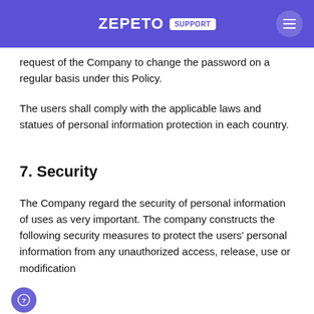ZEPETO SUPPORT
request of the Company to change the password on a regular basis under this Policy.
The users shall comply with the applicable laws and statues of personal information protection in each country.
7. Security
The Company regard the security of personal information of uses as very important. The company constructs the following security measures to protect the users' personal information from any unauthorized access, release, use or modification